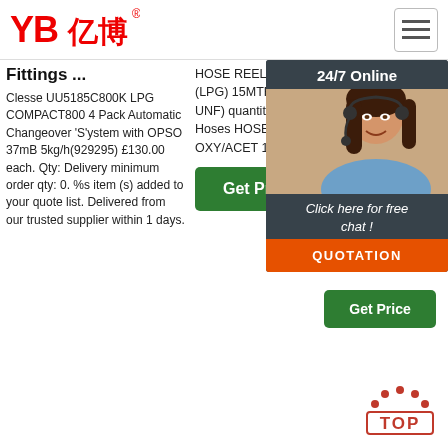[Figure (logo): YB亿博 logo in red with registered trademark symbol]
[Figure (illustration): Hamburger menu icon (three horizontal lines) in a bordered box]
Fittings ... Clesse UU5185C800K LPG COMPACT800 4 Pack Automatic Changeover 'S'ystem with OPSO 37mB 5kg/h(929295) £130.00 each. Qty: Delivery minimum order qty: 0. %s item (s) added to your quote list. Delivered from our trusted supplier within 1 days.
HOSE REEL, OXY/PROPANE (LPG) 15MTR X 6MM (5/8' UNF) quantity. Add to cart. Gas Hoses HOSE ASSEMBLY, OXY/ACET 15MT
[Figure (illustration): Green 'Get Price' button in column 2]
Gas Hose with Qui BBC Pre -3/8 Thr Fla Dis Ce 5 st $ 6
[Figure (photo): 24/7 Online chat overlay with woman wearing headset, 'Click here for free chat!' text, and orange QUOTATION button]
[Figure (illustration): Green 'Get Price' button in column 3]
[Figure (illustration): Red TOP button with dots above]
[Figure (illustration): Green 'Get Price' button at bottom of column 1]